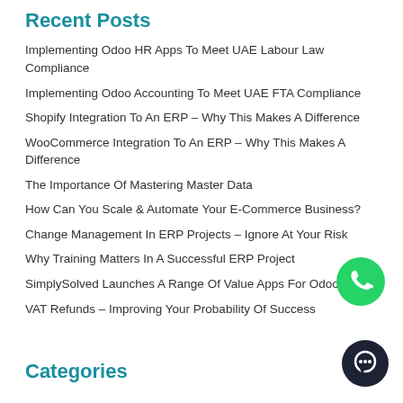Recent Posts
Implementing Odoo HR Apps To Meet UAE Labour Law Compliance
Implementing Odoo Accounting To Meet UAE FTA Compliance
Shopify Integration To An ERP – Why This Makes A Difference
WooCommerce Integration To An ERP – Why This Makes A Difference
The Importance Of Mastering Master Data
How Can You Scale & Automate Your E-Commerce Business?
Change Management In ERP Projects – Ignore At Your Risk
Why Training Matters In A Successful ERP Project
SimplySolved Launches A Range Of Value Apps For Odoo
VAT Refunds – Improving Your Probability Of Success
[Figure (illustration): WhatsApp chat button - green circle with phone handset icon]
[Figure (illustration): Chat bubble button - dark navy circle with chat icon]
Categories